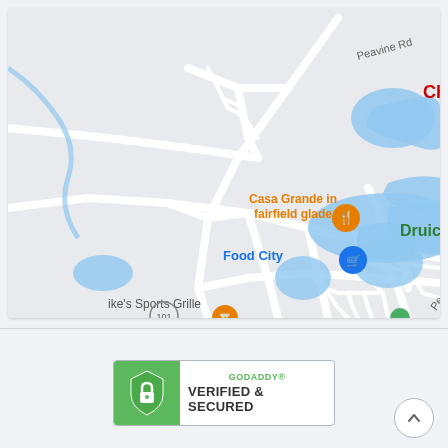[Figure (map): Google Maps screenshot showing Fairfield Glade area with landmarks: Casa Grande in fairfield glade (orange restaurant pin), Food City (blue shopping cart pin), ike's Sports Grille (orange bar/cocktail pin), route 101 circle marker, lakes shown in blue, roads including Peavine Rd, partial text 'Ch' and 'Druic' at right edge]
[Figure (logo): GoDaddy Verified & Secured badge with green shield/lock icon on left and text 'GODADDY® VERIFIED & SECURED' on white background]